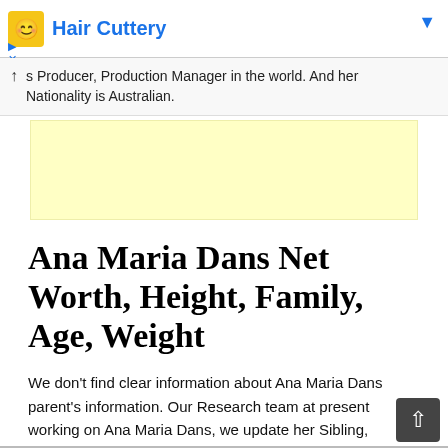[Figure (other): Advertisement banner with Hair Cuttery logo and blue text]
s Producer, Production Manager in the world. And her Nationality is Australian.
[Figure (other): Yellow advertisement block]
Ana Maria Dans Net Worth, Height, Family, Age, Weight
We don't find clear information about Ana Maria Dans parent's information. Our Research team at present working on Ana Maria Dans, we update her Sibling, Parents N/A, Spouse N/A and Children N/Ainformation very shortly. Right now, we don't have much information about Ana Maria Dans Education Lifestyle,